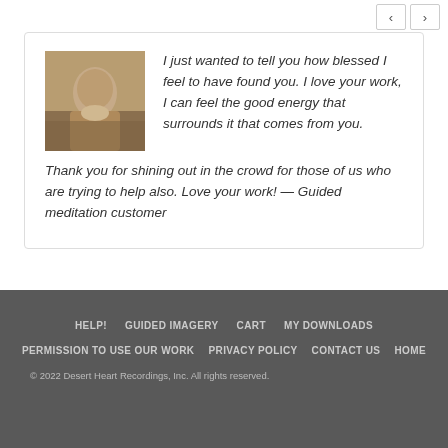[Figure (other): Navigation previous/next arrow buttons in top right corner]
I just wanted to tell you how blessed I feel to have found you. I love your work, I can feel the good energy that surrounds it that comes from you. Thank you for shining out in the crowd for those of us who are trying to help also. Love your work! — Guided meditation customer
[Figure (photo): Small photo of a person sitting outdoors near water/rocks]
Good Energy
HELP!  GUIDED IMAGERY  CART  MY DOWNLOADS  PERMISSION TO USE OUR WORK  PRIVACY POLICY  CONTACT US  HOME  © 2022 Desert Heart Recordings, Inc. All rights reserved.